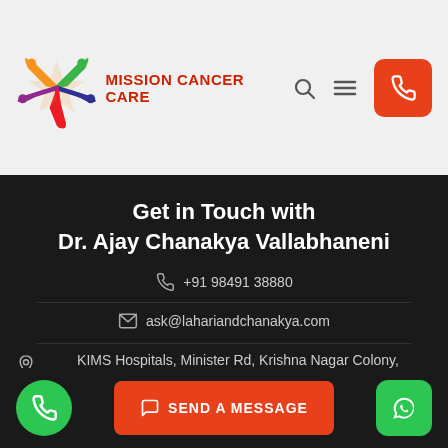[Figure (logo): Mission Cancer Care colorful star/ribbon logo with people figures]
MISSION CANCER CARE
Get in Touch with Dr. Ajay Chanakya Vallabhaneni
+91 98491 38880
ask@lahariandchanakya.com
KIMS Hospitals, Minister Rd, Krishna Nagar Colony, Begumpet - 500003
SEND A MESSAGE